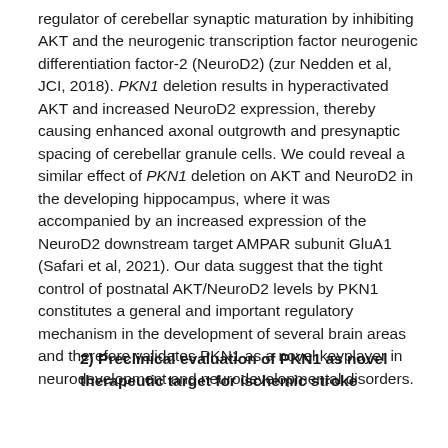regulator of cerebellar synaptic maturation by inhibiting AKT and the neurogenic transcription factor neurogenic differentiation factor-2 (NeuroD2) (zur Nedden et al, JCI, 2018). PKN1 deletion results in hyperactivated AKT and increased NeuroD2 expression, thereby causing enhanced axonal outgrowth and presynaptic spacing of cerebellar granule cells. We could reveal a similar effect of PKN1 deletion on AKT and NeuroD2 in the developing hippocampus, where it was accompanied by an increased expression of the NeuroD2 downstream target AMPAR subunit GluA1 (Safari et al, 2021). Our data suggest that the tight control of postnatal AKT/NeuroD2 levels by PKN1 constitutes a general and important regulatory mechanism in the development of several brain areas and therefore validates PKN1 as a novel keyplayer in neurodevelopment and neurodevelopmental disorders.
2) Preclinical evaluation of PKN1 as novel therapeutic target for ischemic stroke